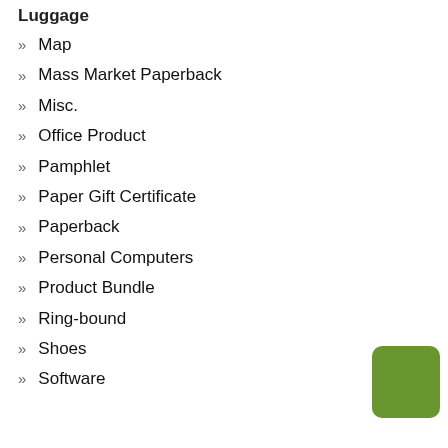Luggage
Map
Mass Market Paperback
Misc.
Office Product
Pamphlet
Paper Gift Certificate
Paperback
Personal Computers
Product Bundle
Ring-bound
Shoes
Software